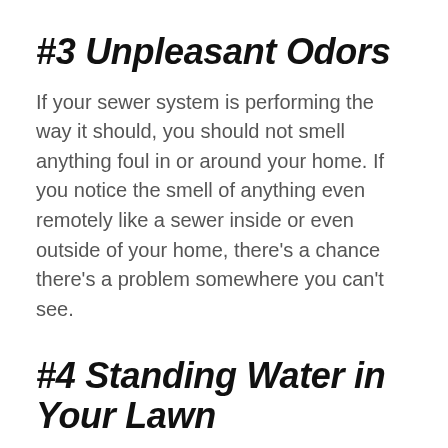#3 Unpleasant Odors
If your sewer system is performing the way it should, you should not smell anything foul in or around your home. If you notice the smell of anything even remotely like a sewer inside or even outside of your home, there’s a chance there’s a problem somewhere you can’t see.
#4 Standing Water in Your Lawn
Even without the odor, standing water in your lawn could indicate a leak in a sewer line somewhere underneath the grass in your yard. There should not be soggy or raised patches of earth in your lawn. If there is, it’s possible the